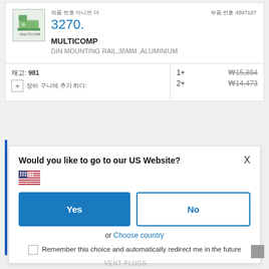[Figure (screenshot): Product listing card for MULTICOMP DIN MOUNTING RAIL, 35MM, ALUMINIUM, part number 3270, with Korean text labels, pricing in Korean Won, and a website redirect dialog asking 'Would you like to go to our US Website?' with Yes/No buttons, flag, country chooser, and checkbox option.]
MULTICOMP 3270.
제품 번호 3270.
부품 번호 4597187
MULTICOMP
DIN MOUNTING RAIL,35MM ,ALUMINIUM
재고: 981
1+  ₩15,864
2+  ₩14,473
Would you like to go to our US Website?
Yes
No
or Choose country
Remember this choice and automatically redirect me in the future
VENT PLUGS